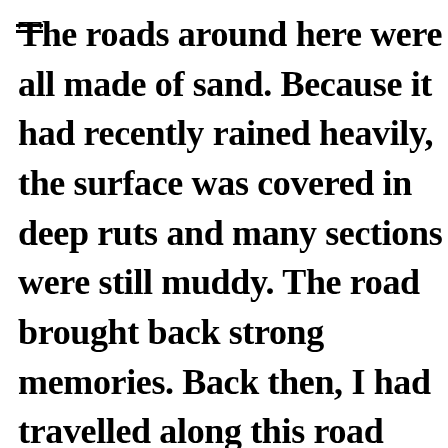The roads around here were all made of sand. Because it had recently rained heavily, the surface was covered in deep ruts and many sections were still muddy. The road brought back strong memories. Back then, I had travelled along this road countless times, sometimes on foot, sometimes in a cart or